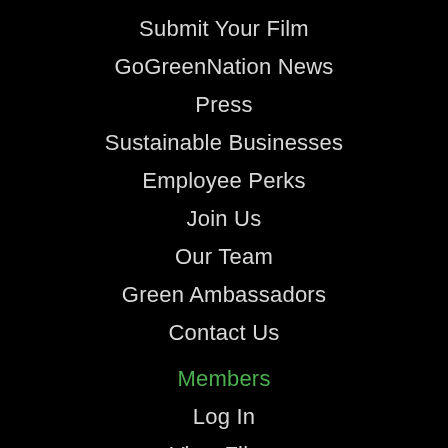Submit Your Film
GoGreenNation News
Press
Sustainable Businesses
Employee Perks
Join Us
Our Team
Green Ambassadors
Contact Us
Members
Log In
View Films
Filmmaker Discussions